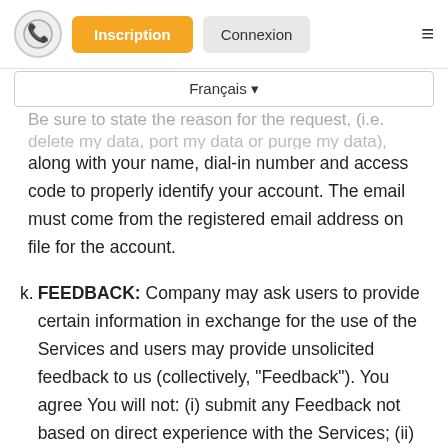Inscription | Connexion
Be sure to state the reason for the request, (i.e. delete my data, port my data or purge my data), along with your name, dial-in number and access code to properly identify your account. The email must come from the registered email address on file for the account.
k. FEEDBACK: Company may ask users to provide certain information in exchange for the use of the Services and users may provide unsolicited feedback to us (collectively, "Feedback"). You agree You will not: (i) submit any Feedback not based on direct experience with the Services; (ii) attempt to manipulate the Feedback by posting Feedback more than once with respect to a particular experience or